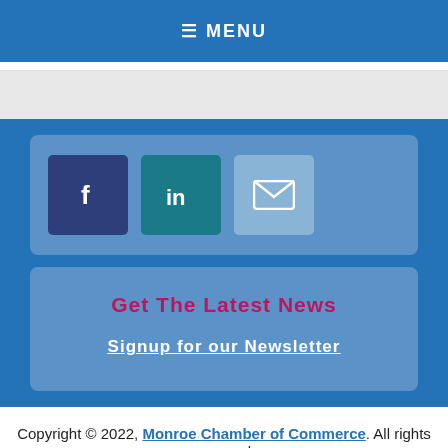≡ MENU
[Figure (infographic): Social media share buttons: Facebook (f), LinkedIn (in), and email (envelope icon)]
Get The Latest News
Signup for our Newsletter
Copyright © 2022, Monroe Chamber of Commerce. All rights reserved.